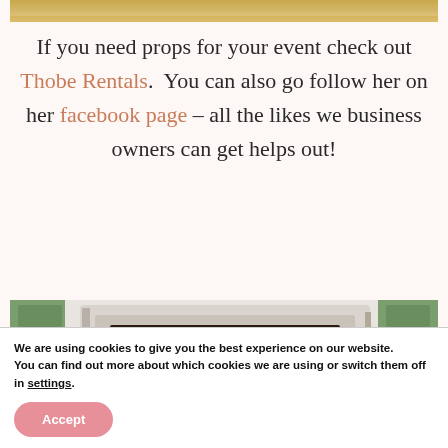[Figure (photo): Partial view of a food item with yellow/golden color at top of page]
If you need props for your event check out Thobe Rentals.  You can also go follow her on her facebook page – all the likes we business owners can get helps out!
[Figure (photo): Close-up of a weathered white and green wooden window or door frame]
We are using cookies to give you the best experience on our website.
You can find out more about which cookies we are using or switch them off in settings.
Accept